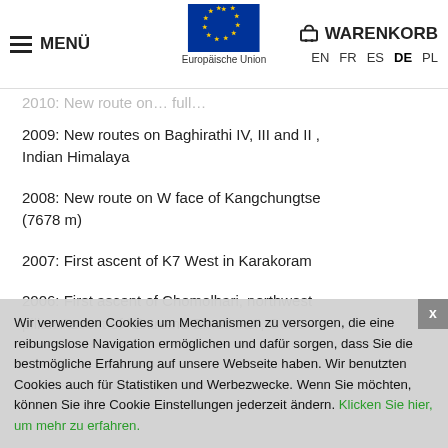MENÜ | Europäische Union | WARENKORB | EN FR ES DE PL
2009: New routes on Baghirathi IV, III and II , Indian Himalaya
2008: New route on W face of Kangchungtse (7678 m)
2007: First ascent of K7 West in Karakoram
2006: First ascent of Chomolhari, northwest pillar. Ascent of "Extreme Emotions", Cerro
Wir verwenden Cookies um Mechanismen zu versorgen, die eine reibungslose Navigation ermöglichen und dafür sorgen, dass Sie die bestmögliche Erfahrung auf unsere Webseite haben. Wir benutzten Cookies auch für Statistiken und Werbezwecke. Wenn Sie möchten, können Sie ihre Cookie Einstellungen jederzeit ändern. Klicken Sie hier, um mehr zu erfahren.